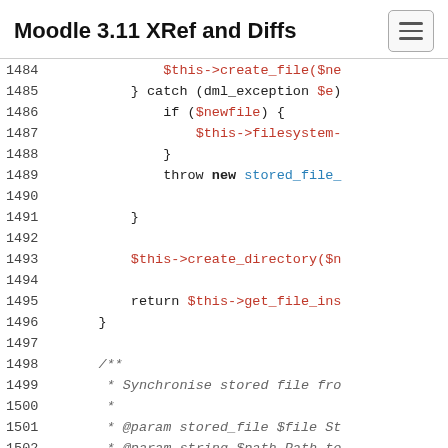Moodle 3.11 XRef and Diffs
[Figure (screenshot): Code viewer showing PHP source lines 1484-1502 with syntax highlighting (red for variables/strings, blue for class names, italic gray for comments)]